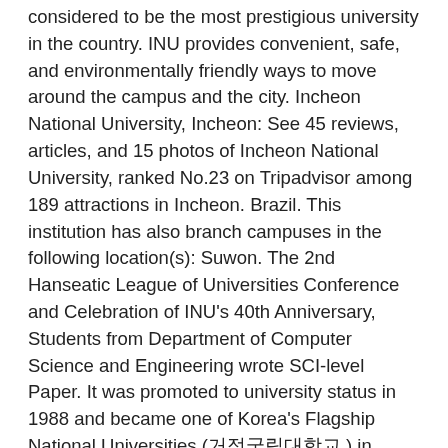considered to be the most prestigious university in the country. INU provides convenient, safe, and environmentally friendly ways to move around the campus and the city. Incheon National University, Incheon: See 45 reviews, articles, and 15 photos of Incheon National University, ranked No.23 on Tripadvisor among 189 attractions in Incheon. Brazil. This institution has also branch campuses in the following location(s): Suwon. The 2nd Hanseatic League of Universities Conference and Celebration of INU's 40th Anniversary, Students from Department of Computer Science and Engineering wrote SCI-level Paper. It was promoted to university status in 1988 and became one of Korea's Flagship National Universities (거점국립대학교 ) in 2013, as a representative of Gyeonggi Province and Incheon. Address 155 Incheontower-daero, Songdo-dong, Yeonsu-gu, Incheon 인천광역시 연수구 아카데미로 155 (송도동 캠퍼스 센텀 빌딩 78-1) Geolocation: 37.378340, 126.645166. United States of America. 5%. 1000. International Students. Considering